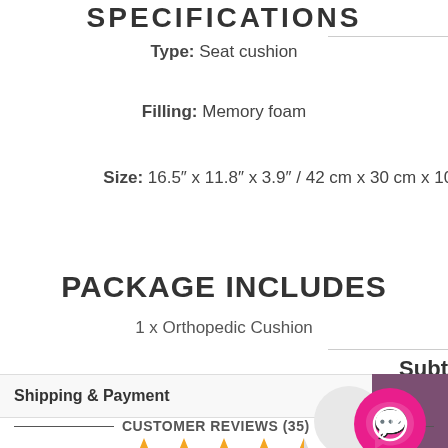SPECIFICATIONS
Type: Seat cushion
Filling: Memory foam
Size: 16.5″ x 11.8″ x 3.9″ / 42 cm x 30 cm x 10 cr
PACKAGE INCLUDES
1 x Orthopedic Cushion
Shipping & Payment
Subt
CUSTOMER REVIEWS (35)
[Figure (other): 4.5 star rating display with gold stars]